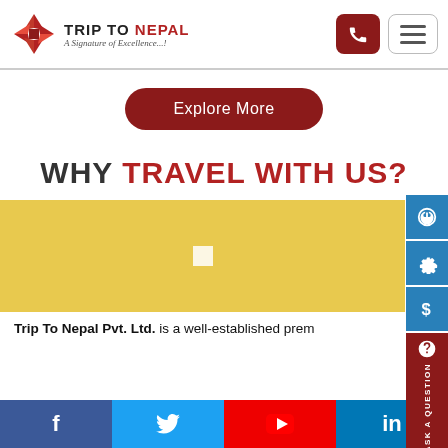Trip To Nepal — A Signature of Excellence...!
Explore More
WHY TRAVEL WITH US?
[Figure (other): Yellow background video placeholder with white play button square]
Trip To Nepal Pvt. Ltd. is a well-established prem...
Facebook | Twitter | YouTube | LinkedIn